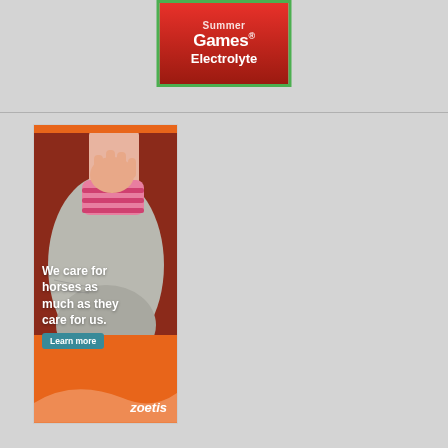[Figure (logo): Games Electrolyte product logo on red background with green border]
[Figure (photo): Advertisement banner for Zoetis showing a child's hand touching a horse's nose. Text reads: 'We care for horses as much as they care for us.' with a 'Learn more' button and Zoetis logo at bottom.]